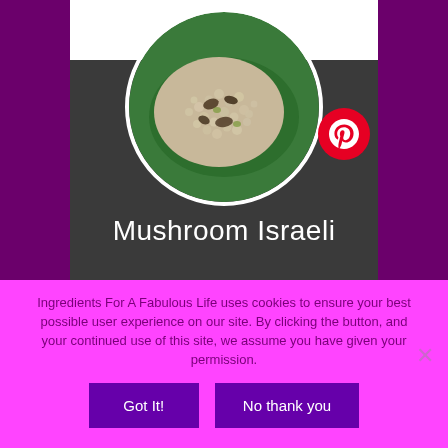[Figure (photo): Circular image of mushroom Israeli couscous dish on a green leaf, shown on a dark gray card background with white top area and purple side bars]
Mushroom Israeli
Ingredients For A Fabulous Life uses cookies to ensure your best possible user experience on our site. By clicking the button, and your continued use of this site, we assume you have given your permission.